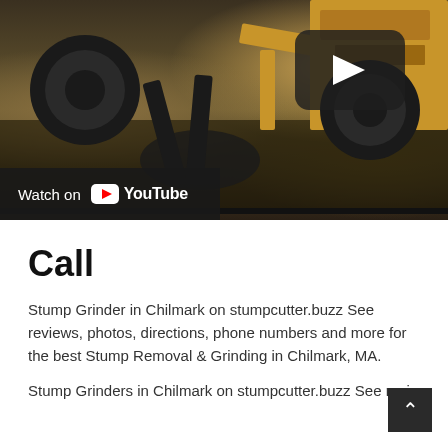[Figure (screenshot): YouTube embedded video thumbnail showing stump grinder machinery (yellow equipment with tires and grinding attachments) on dirt ground. A dark play button overlay is visible in the upper right area. A 'Watch on YouTube' bar appears at the bottom left of the video frame.]
Call
Stump Grinder in Chilmark on stumpcutter.buzz See reviews, photos, directions, phone numbers and more for the best Stump Removal & Grinding in Chilmark, MA.
Stump Grinders in Chilmark on stumpcutter.buzz See review...